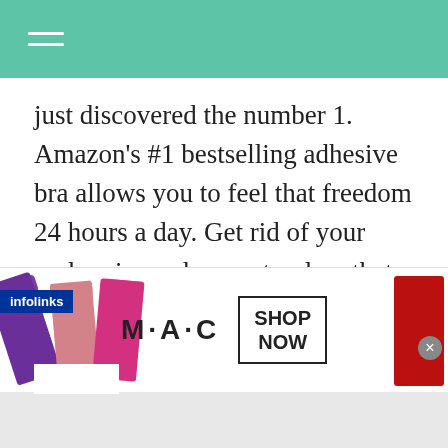just discovered the number 1. Amazon's #1 bestselling adhesive bra allows you to feel that freedom 24 hours a day. Get rid of your underwire and your strapless that always slides down. This bra provides the support you want with the comfort you desire.
Summer style is all breezy, barely there fabric and sleeveless silhouettes. It's easy to show ur sunkissed skin, but finding the right
[Figure (advertisement): MAC Cosmetics advertisement showing lipsticks in purple, pink, and red colors with M·A·C logo and SHOP NOW button]